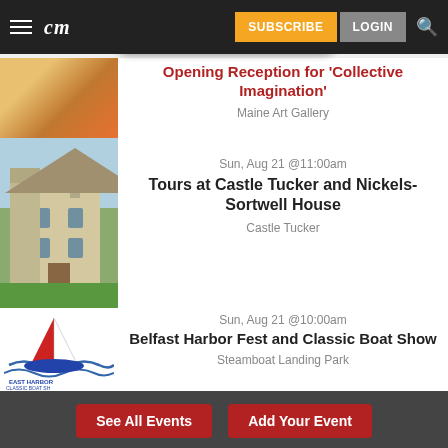cm | SUBSCRIBE | LOGIN
Opening Reception for 'Collective Imagination'
Maine Art Gallery
Sun, Aug 21 @11:00am
Tours at Castle Tucker and Nickels-Sortwell House
Castle Tucker
Sun, Aug 21 @10:00am
Belfast Harbor Fest and Classic Boat Show
Steamboat Landing Park
See All Events
Add Your Event
READ MORE
on Newz Online